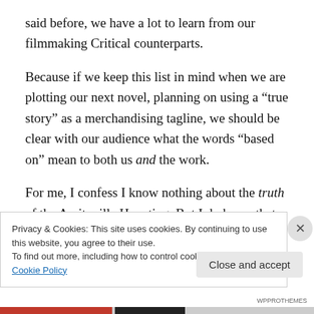said before, we have a lot to learn from our filmmaking Critical counterparts.
Because if we keep this list in mind when we are plotting our next novel, planning on using a “true story” as a merchandising tagline, we should be clear with our audience what the words “based on” mean to both us and the work.
For me, I confess I know nothing about the truth of the Amityville Haunting. But I do know that what the book
Privacy & Cookies: This site uses cookies. By continuing to use this website, you agree to their use.
To find out more, including how to control cookies, see here: Cookie Policy